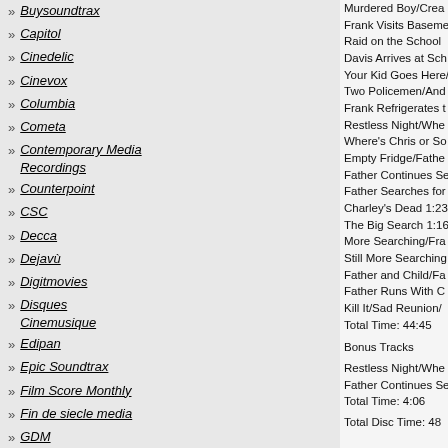Buysoundtrax
Capitol
Cinedelic
Cinevox
Columbia
Cometa
Contemporary Media Recordings
Counterpoint
CSC
Decca
Dejavù
Digitmovies
Disques Cinemusique
Edipan
Epic Soundtrax
Film Score Monthly
Fin de siecle media
GDM
GDM Hillside
GNP Crescendo
Harkit
Heristal
Hexacord
Hollywood Records
Intrada
Irma
Murdered Boy/Creature Approaches
Frank Visits Basement/Locked In
Raid on the School
Davis Arrives at School/Fight
Your Kid Goes Here/You're New Here
Two Policemen/Another Policeman
Frank Refrigerates the Body
Restless Night/Where's My Kid
Where's Chris or Son 1:31
Empty Fridge/Father Confronts Son
Father Continues Searching
Father Searches for Son 1:50
Charley's Dead 1:23
The Big Search 1:16
More Searching/Frank Pays Off
Still More Searching/Let Him Go
Father and Child/Father Runs
Father Runs With Child 1:23
Kill It/Sad Reunion/Chris Lives
Total Time: 44:45
Bonus Tracks
Restless Night/Where's My Kid
Father Continues Searching
Total Time: 4:06
Total Disc Time: 48
It's Alive
Aka:        - Baby K
Genre:      - Horror